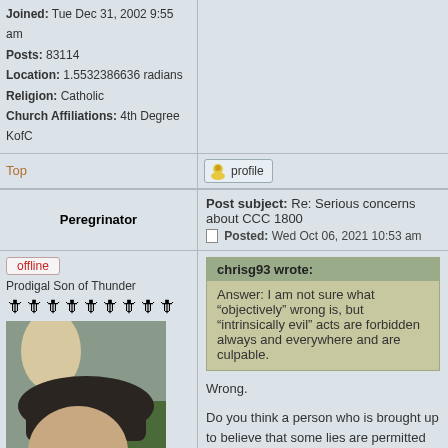Joined: Tue Dec 31, 2002 9:55 am
Posts: 83114
Location: 1.5532386636 radians
Religion: Catholic
Church Affiliations: 4th Degree KofC
Top
[Figure (other): Profile button with user icon]
Peregrinator
Post subject: Re: Serious concerns about CCC 1800
Posted: Wed Oct 06, 2021 10:53 am
offline
Prodigal Son of Thunder
[Figure (photo): Avatar photo of bearded man wearing flat cap and glasses]
Joined: Mon Dec 23, 2002 10:54 am
Posts: 40564
Location: Ithilien
Religion: Dunedain Catholic
Church Affiliations: AWC, CSB
chrisg93 wrote:
Answer: I am not sure what “objectively” wrong is, but “intrinsically evil” acts are forbidden always and everywhere and are culpable.
Wrong.

Do you think a person who is brought up to believe that some lies are permitted (lying in intrinsically evil) is culpable for every officious lie he tells?